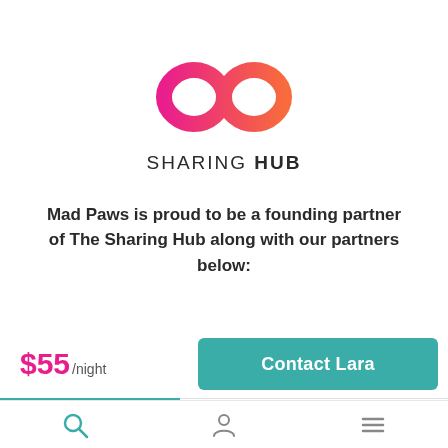[Figure (logo): Sharing Hub logo: infinity symbol with pink-to-orange gradient, with text SHARING HUB below]
Mad Paws is proud to be a founding partner of The Sharing Hub along with our partners below:
$55/night
Contact Lara
[Figure (other): Bottom navigation bar with search, profile, and menu icons]